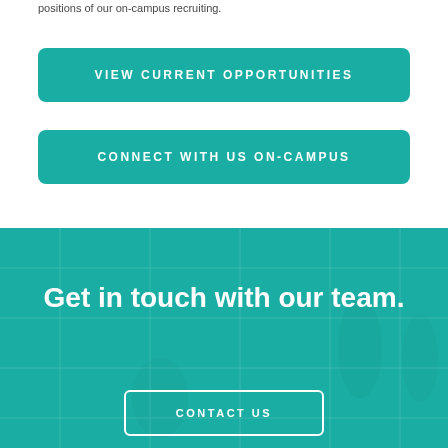positions of our on-campus recruiting.
VIEW CURRENT OPPORTUNITIES
CONNECT WITH US ON-CAMPUS
Get in touch with our team.
CONTACT US